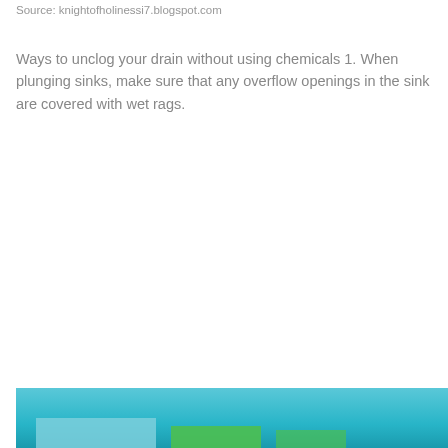Source: knightofholinessi7.blogspot.com
Ways to unclog your drain without using chemicals 1. When plunging sinks, make sure that any overflow openings in the sink are covered with wet rags.
[Figure (photo): Bottom portion of an image showing a turquoise/teal background with green and blue bar elements, partially visible at the bottom of the page]